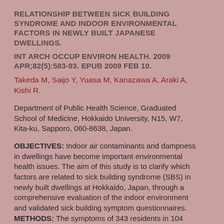RELATIONSHIP BETWEEN SICK BUILDING SYNDROME AND INDOOR ENVIRONMENTAL FACTORS IN NEWLY BUILT JAPANESE DWELLINGS.
INT ARCH OCCUP ENVIRON HEALTH. 2009 APR;82(5):583-93. EPUB 2009 FEB 10.
Takeda M, Saijo Y, Yuasa M, Kanazawa A, Araki A, Kishi R.
Department of Public Health Science, Graduated School of Medicine, Hokkaido University, N15, W7, Kita-ku, Sapporo, 060-8638, Japan.
OBJECTIVES: Indoor air contaminants and dampness in dwellings have become important environmental health issues. The aim of this study is to clarify which factors are related to sick building syndrome (SBS) in newly built dwellings at Hokkaido, Japan, through a comprehensive evaluation of the indoor environment and validated sick building symptom questionnaires. METHODS: The symptoms of 343 residents in 104